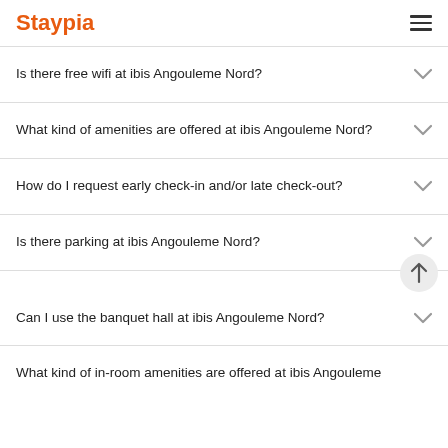Staypia
Is there free wifi at ibis Angouleme Nord?
What kind of amenities are offered at ibis Angouleme Nord?
How do I request early check-in and/or late check-out?
Is there parking at ibis Angouleme Nord?
Can I use the banquet hall at ibis Angouleme Nord?
What kind of in-room amenities are offered at ibis Angouleme